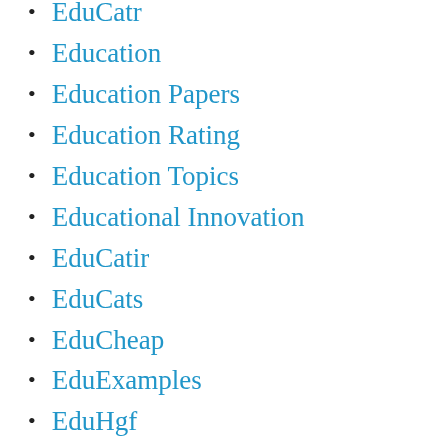EduCatr
Education
Education Papers
Education Rating
Education Topics
Educational Innovation
EduCatir
EduCats
EduCheap
EduExamples
EduHgf
EduNew
EduTerm
Eduthes
EduTips
EduTIpsu
EduTriss